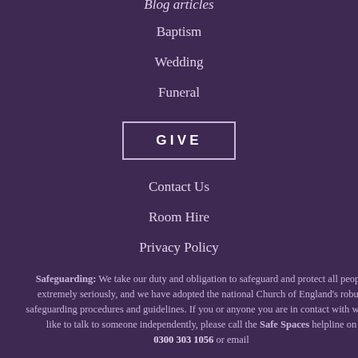Baptism
Wedding
Funeral
GIVE
Contact Us
Room Hire
Privacy Policy
Safeguarding: We take our duty and obligation to safeguard and protect all people extremely seriously, and we have adopted the national Church of England’s robust safeguarding procedures and guidelines. If you or anyone you are in contact with would like to talk to someone independently, please call the Safe Spaces helpline on 0300 303 1056 or email